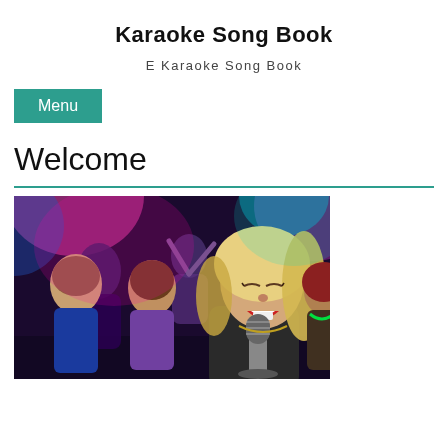Karaoke Song Book
E Karaoke Song Book
Menu
Welcome
[Figure (photo): A woman singing into a vintage microphone at a karaoke party, with people dancing in colorful lights behind her]